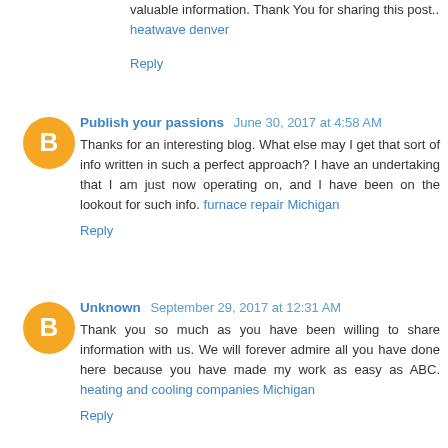valuable information. Thank You for sharing this post.. heatwave denver
Reply
Publish your passions June 30, 2017 at 4:58 AM
Thanks for an interesting blog. What else may I get that sort of info written in such a perfect approach? I have an undertaking that I am just now operating on, and I have been on the lookout for such info. furnace repair Michigan
Reply
Unknown September 29, 2017 at 12:31 AM
Thank you so much as you have been willing to share information with us. We will forever admire all you have done here because you have made my work as easy as ABC. heating and cooling companies Michigan
Reply